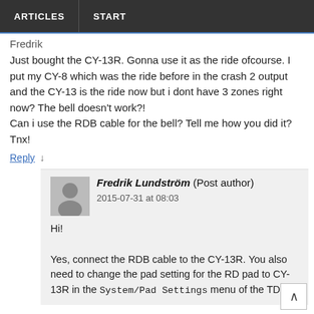ARTICLES  START
Fredrik
Just bought the CY-13R. Gonna use it as the ride ofcourse. I put my CY-8 which was the ride before in the crash 2 output and the CY-13 is the ride now but i dont have 3 zones right now? The bell doesn't work?!
Can i use the RDB cable for the bell? Tell me how you did it?
Tnx!
Reply ↓
Fredrik Lundström (Post author)
2015-07-31 at 08:03
Hi!

Yes, connect the RDB cable to the CY-13R. You also need to change the pad setting for the RD pad to CY-13R in the System/Pad Settings menu of the TD-11.